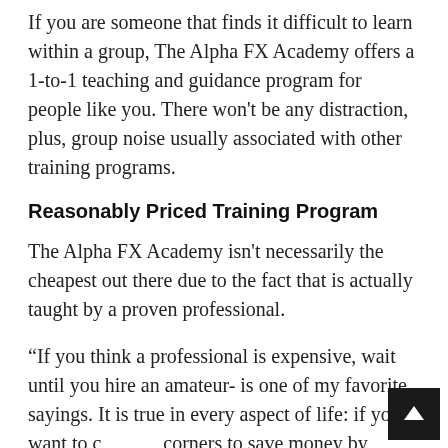If you are someone that finds it difficult to learn within a group, The Alpha FX Academy offers a 1-to-1 teaching and guidance program for people like you. There won't be any distraction, plus, group noise usually associated with other training programs.
Reasonably Priced Training Program
The Alpha FX Academy isn't necessarily the cheapest out there due to the fact that is actually taught by a proven professional.
“If you think a professional is expensive, wait until you hire an amateur- is one of my favorite sayings. It is true in every aspect of life: if you want to cut corners to save money by lowering the quality you know the results will be just as cheap and